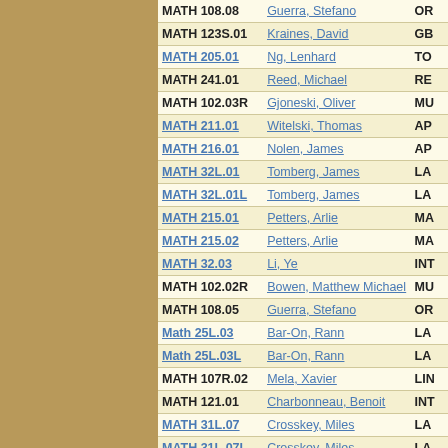| Course | Instructor | Status |
| --- | --- | --- |
| MATH 108.08 | Guerra, Stefano | OR |
| MATH 123S.01 | Kraines, David | GB |
| MATH 205.01 | Ng, Lenhard | TO |
| MATH 241.01 | Reed, Michael | RE |
| MATH 102.03R | Gjoneski, Oliver | MU |
| MATH 211.01 | Witelski, Thomas | AP |
| MATH 216.01 | Nolen, James | AP |
| MATH 32L.01 | Tomberg, James | LA |
| MATH 32L.01L | Tomberg, James | LA |
| MATH 215.01 | Petters, Arlie | MA |
| MATH 215.02 | Petters, Arlie | MA |
| MATH 32.03 | Li, Ye | INT |
| MATH 102.02R | Bowen, Matthew Michael | MU |
| MATH 108.05 | Guerra, Stefano | OR |
| Math 25L.03 | Bar-On, Rann | LA |
| Math 25L.03L | Bar-On, Rann | LA |
| MATH 107R.02 | Mela, Xavier | LIN |
| MATH 121.01 | Charbonneau, Benoit | INT |
| MATH 31L.07 | Crosskey, Miles | LA |
| MATH 31L.07L | Crosskey, Miles | LA |
| MATH 32.06 | Mela, Xavier | INT |
| MATH 139.01 | Pardon, William | AD |
| MATH 139.02 | Sharif, Shahed | AD |
| MATH 103.08 | Roy, Arya | INT |